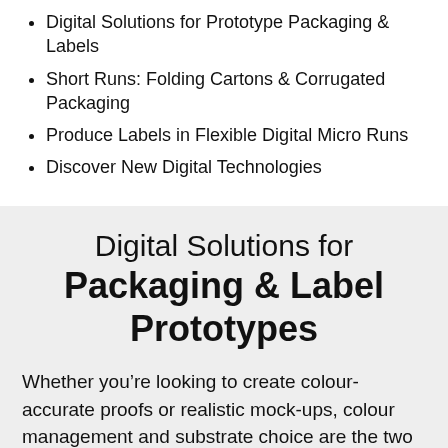Digital Solutions for Prototype Packaging & Labels
Short Runs: Folding Cartons & Corrugated Packaging
Produce Labels in Flexible Digital Micro Runs
Discover New Digital Technologies
Digital Solutions for Packaging & Label Prototypes
Whether you’re looking to create colour-accurate proofs or realistic mock-ups, colour management and substrate choice are the two key elements of